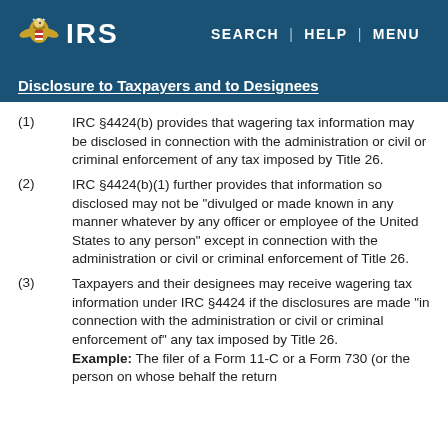IRS | SEARCH | HELP | MENU
Disclosure to Taxpayers and to Designees
(1) IRC §4424(b) provides that wagering tax information may be disclosed in connection with the administration or civil or criminal enforcement of any tax imposed by Title 26.
(2) IRC §4424(b)(1) further provides that information so disclosed may not be "divulged or made known in any manner whatever by any officer or employee of the United States to any person" except in connection with the administration or civil or criminal enforcement of Title 26.
(3) Taxpayers and their designees may receive wagering tax information under IRC §4424 if the disclosures are made "in connection with the administration or civil or criminal enforcement of" any tax imposed by Title 26. Example: The filer of a Form 11-C or a Form 730 (or the person on whose behalf the return